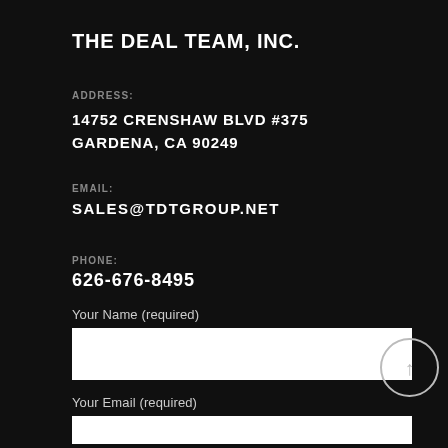THE DEAL TEAM, INC.
ADDRESS:
14752 CRENSHAW BLVD #375
GARDENA, CA 90249
EMAIL:
SALES@TDTGROUP.NET
PHONE:
626-676-8495
Your Name (required)
Your Email (required)